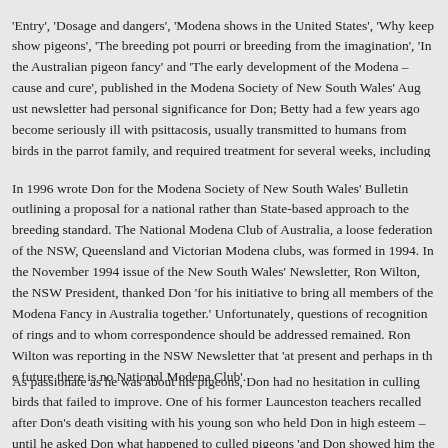Entry', 'Dosage and dangers', 'Modena shows in the United States', 'Why keep show pigeons', 'The breeding pot pourri or breeding from the imagination', 'In the Australian pigeon fancy' and 'The early development of the Modena – cause and cure', published in the Modena Society of New South Wales' August newsletter had personal significance for Don; Betty had a few years ago become seriously ill with psittacosis, usually transmitted to humans from birds in the parrot family, and required treatment for several weeks, including two weeks in hospital.
In 1996 wrote Don for the Modena Society of New South Wales' Bulletin outlining a proposal for a national rather than State-based approach to the breeding standard. The National Modena Club of Australia, a loose federation of the NSW, Queensland and Victorian Modena clubs, was formed in 1994. In the November 1994 issue of the New South Wales' Newsletter, Ron Wilton, the NSW President, thanked Don 'for his initiative to bring all members of the Modena Fancy in Australia together.' Unfortunately, questions of recognition of rings and to whom correspondence should be addressed remained. Ron Wilton was reporting in the NSW Newsletter that 'at present and perhaps in the future there is no National Modena Club'.
As passionate as he was about his pigeons, Don had no hesitation in culling birds that failed to improve. One of his former Launceston teachers recalled after Don's death visiting with his young son who held Don in high esteem – until he asked Don what happened to culled pigeons 'and Don showed him the pot on the kitchen stove with the lit...